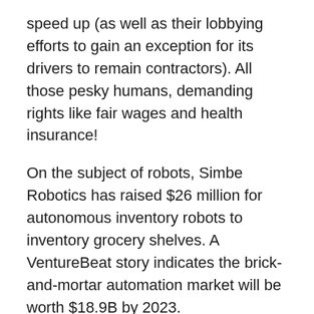speed up (as well as their lobbying efforts to gain an exception for its drivers to remain contractors). All those pesky humans, demanding rights like fair wages and health insurance!
On the subject of robots, Simbe Robotics has raised $26 million for autonomous inventory robots to inventory grocery shelves. A VentureBeat story indicates the brick-and-mortar automation market will be worth $18.9B by 2023.
Simbe's robot, Tally, drives around a space to create a store map and then uses computer vision to “see” what products aren't on a shelf and identify any missing facings, using RFID for its inventory counts.
VentureBeat reports a single robot can scan 15K to 30K